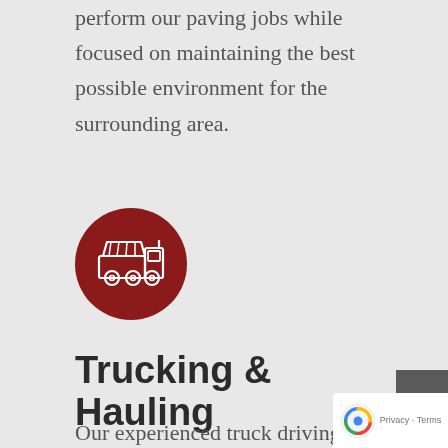perform our paving jobs while focused on maintaining the best possible environment for the surrounding area.
[Figure (illustration): Dark red circular icon with a white dump truck illustration]
Trucking & Hauling
Our experienced truck driving professionals utilize our company owned fleet of trucks to provide transport and hauling services. We offer our freight and hauling services throughout...